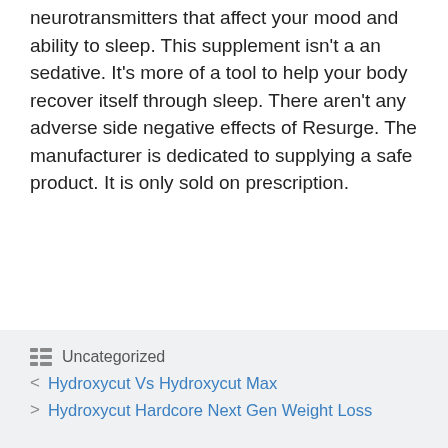neurotransmitters that affect your mood and ability to sleep. This supplement isn't a an sedative. It's more of a tool to help your body recover itself through sleep. There aren't any adverse side negative effects of Resurge. The manufacturer is dedicated to supplying a safe product. It is only sold on prescription.
Uncategorized
Hydroxycut Vs Hydroxycut Max
Hydroxycut Hardcore Next Gen Weight Loss